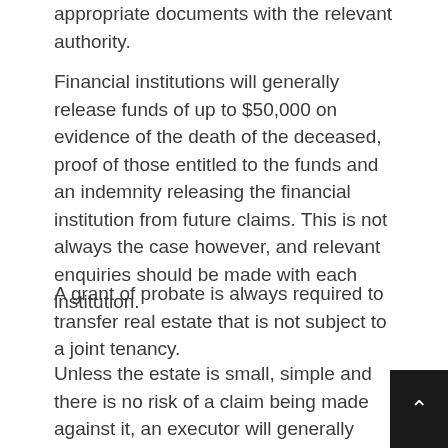appropriate documents with the relevant authority.
Financial institutions will generally release funds of up to $50,000 on evidence of the death of the deceased, proof of those entitled to the funds and an indemnity releasing the financial institution from future claims. This is not always the case however, and relevant enquiries should be made with each institution.
A grant of probate is always required to transfer real estate that is not subject to a joint tenancy.
Unless the estate is small, simple and there is no risk of a claim being made against it, an executor will generally seek an application for a grant of probat